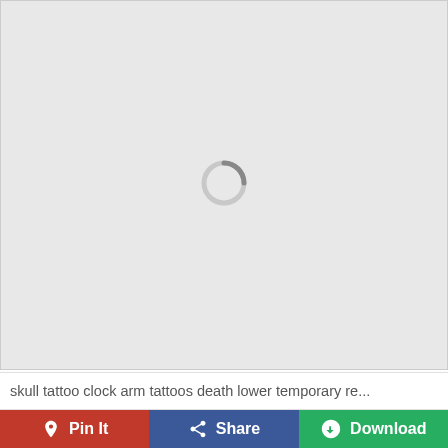[Figure (screenshot): Loading placeholder with spinning circle indicator on light gray background]
skull tattoo clock arm tattoos death lower temporary re...
Pin It | Share | Download